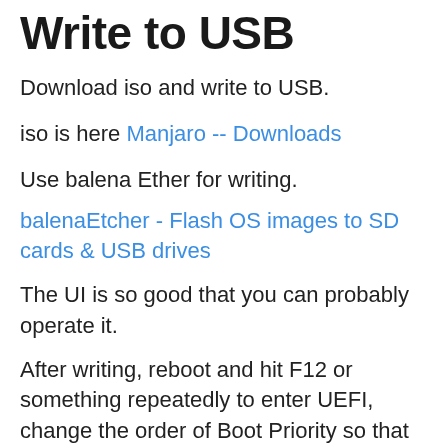Write to USB
Download iso and write to USB.
iso is here Manjaro -- Downloads
Use balena Ether for writing.
balenaEtcher - Flash OS images to SD cards & USB drives
The UI is so good that you can probably operate it.
After writing, reboot and hit F12 or something repeatedly to enter UEFI, change the order of Boot Priority so that